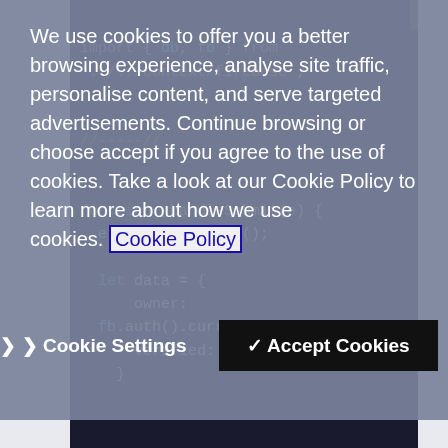[Figure (screenshot): Code editor showing JavaScript code with syntax highlighting on dark background. Visible code includes: import { db, fb } from '../../context/firebase'; followed by a comment //-----// and function _handleSubmit(e) { e.preventDefault(); let data = { owner: fb.auth().currentUser.uid, verified: false,]
We use cookies to offer you a better browsing experience, analyse site traffic, personalise content, and serve targeted advertisements. Continue browsing or choose accept if you agree to the use of cookies. Take a look at our Cookie Policy to learn more about how we use cookies. Cookie Policy
❯ Cookie Settings
✓ Accept Cookies